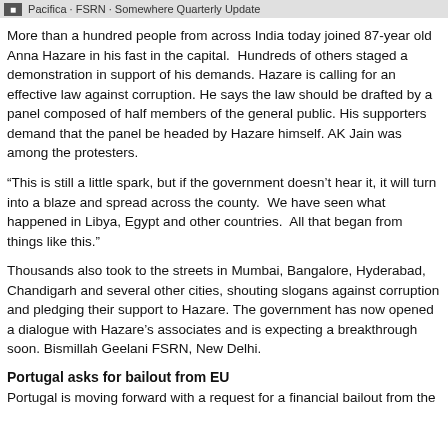Pacifica Radio Archives Quarterly Update
More than a hundred people from across India today joined 87-year old Anna Hazare in his fast in the capital. Hundreds of others staged a demonstration in support of his demands. Hazare is calling for an effective law against corruption. He says the law should be drafted by a panel composed of half members of the general public. His supporters demand that the panel be headed by Hazare himself. AK Jain was among the protesters.
“This is still a little spark, but if the government doesn’t hear it, it will turn into a blaze and spread across the county. We have seen what happened in Libya, Egypt and other countries. All that began from things like this.”
Thousands also took to the streets in Mumbai, Bangalore, Hyderabad, Chandigarh and several other cities, shouting slogans against corruption and pledging their support to Hazare. The government has now opened a dialogue with Hazare’s associates and is expecting a breakthrough soon. Bismillah Geelani FSRN, New Delhi.
Portugal asks for bailout from EU
Portugal is moving forward with a request for a financial bailout from the